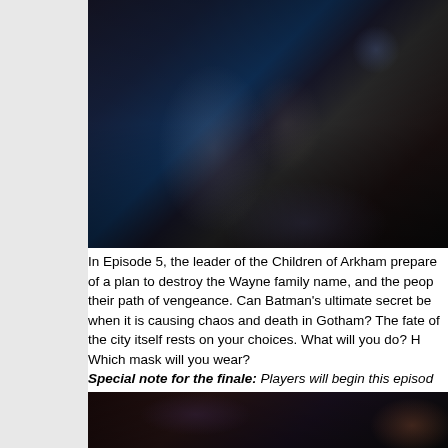[Figure (screenshot): Dark video game screenshot showing Batman characters in what appears to be a grand hall with arched windows. The scene is from Batman: The Telltale Series Episode 5, showing figures in a dark, dramatic confrontation.]
In Episode 5, the leader of the Children of Arkham prepares of a plan to destroy the Wayne family name, and the people in their path of vengeance. Can Batman's ultimate secret be kept when it is causing chaos and death in Gotham? The fate of the city itself rests on your choices. What will you do? How? Which mask will you wear?
Special note for the finale: Players will begin this episode depending on where they chose to go in the third act of Ep
[Figure (screenshot): Dark video game screenshot, partially visible at the bottom of the page, showing a scene from Batman: The Telltale Series.]